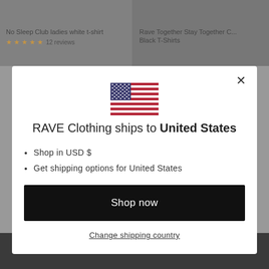No Sleep Club ladies white t-shirt ★★★★★ 12 reviews
Rave Together Stay Together C... Black T-Shirts
[Figure (screenshot): Modal dialog on e-commerce website showing US flag, shipping information for United States, Shop now button, and Change shipping country link]
RAVE Clothing ships to United States
Shop in USD $
Get shipping options for United States
Shop now
Change shipping country